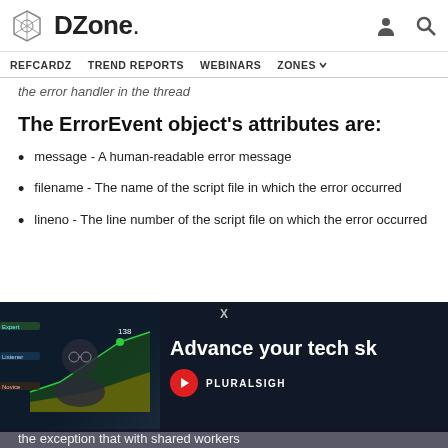DZone. | REFCARDZ | TREND REPORTS | WEBINARS | ZONES
the error handler in the thread
The ErrorEvent object's attributes are:
message - A human-readable error message
filename - The name of the script file in which the error occurred
lineno - The line number of the script file on which the error occurred
[Figure (photo): Advertisement overlay for Pluralsight: 'Advance your tech sk...' with a person wearing glasses shown on the left side against a dark background with a graph visualization.]
the exception that with shared workers